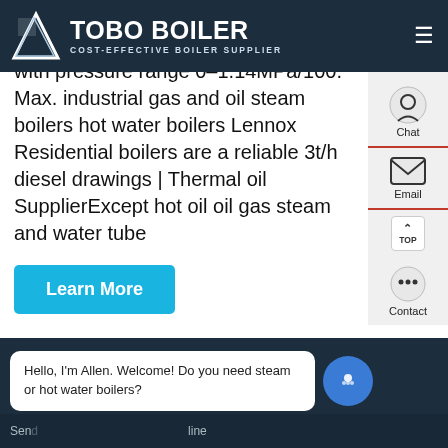TOBO BOILER — COST-EFFECTIVE BOILER SUPPLIER
Lnndustrial is a leader in industrial boiler manufacturers for 70 years with pressure range 0–1.14MPa/100. Max. industrial gas and oil steam boilers hot water boilers Lennox Residential boilers are a reliable 3t/h diesel drawings | Thermal oil SupplierExcept hot oil oil gas steam and water tube
[Figure (screenshot): Learn More button — cyan/blue rounded rectangle]
[Figure (photo): Industrial boiler equipment in a factory setting with Chinese branding, pipes, gauges, and red components visible. WhatsApp icon and 'Contact us now!' green button overlaid.]
Hello, I'm Allen. Welcome! Do you need steam or hot water boilers?
Send ... line